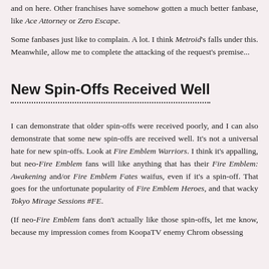and on here. Other franchises have somehow gotten a much better fanbase, like Ace Attorney or Zero Escape.
Some fanbases just like to complain. A lot. I think Metroid's falls under this. Meanwhile, allow me to complete the attacking of the request's premise...
New Spin-Offs Received Well
I can demonstrate that older spin-offs were received poorly, and I can also demonstrate that some new spin-offs are received well. It's not a universal hate for new spin-offs. Look at Fire Emblem Warriors. I think it's appalling, but neo-Fire Emblem fans will like anything that has their Fire Emblem: Awakening and/or Fire Emblem Fates waifus, even if it's a spin-off. That goes for the unfortunate popularity of Fire Emblem Heroes, and that wacky Tokyo Mirage Sessions #FE.
(If neo-Fire Emblem fans don't actually like those spin-offs, let me know, because my impression comes from KoopaTV enemy Chrom obsessing